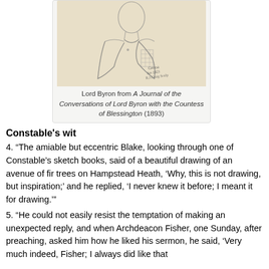[Figure (illustration): Pencil sketch portrait of Lord Byron, a man shown from approximately chest up, wearing an open coat with checkered lining, handwritten inscription visible bottom right dated 1823.]
Lord Byron from A Journal of the Conversations of Lord Byron with the Countess of Blessington (1893)
Constable's wit
4. “The amiable but eccentric Blake, looking through one of Constable’s sketch books, said of a beautiful drawing of an avenue of fir trees on Hampstead Heath, ‘Why, this is not drawing, but inspiration;’ and he replied, ‘I never knew it before; I meant it for drawing.’”
5. “He could not easily resist the temptation of making an unexpected reply, and when Archdeacon Fisher, one Sunday, after preaching, asked him how he liked his sermon, he said, ‘Very much indeed, Fisher; I always did like that